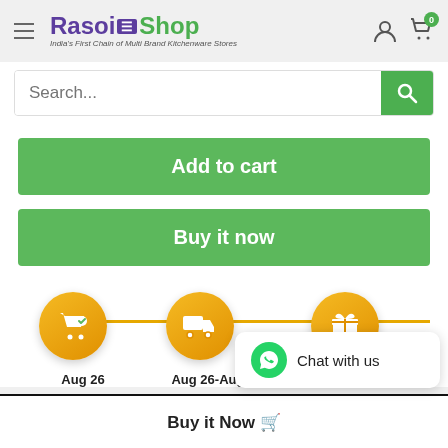[Figure (logo): Rasoi Shop logo with hamburger menu, user icon and cart icon with badge 0]
[Figure (screenshot): Search bar with placeholder text Search...]
Add to cart
Buy it now
[Figure (infographic): Order timeline with three orange circles: shopping cart (Aug 26), delivery truck (Aug 26-Aug 28), gift box (partially visible). Connected by orange horizontal line.]
[Figure (screenshot): Chat with us WhatsApp bubble in bottom right]
Buy it Now 🛒